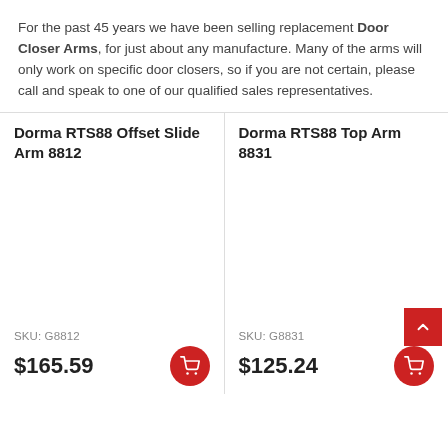For the past 45 years we have been selling replacement Door Closer Arms, for just about any manufacture.  Many of the arms will only work on specific door closers, so if you are not certain, please call and speak to one of our qualified sales representatives.
Dorma RTS88 Offset Slide Arm 8812
Dorma RTS88 Top Arm 8831
SKU: G8812
SKU: G8831
$165.59
$125.24